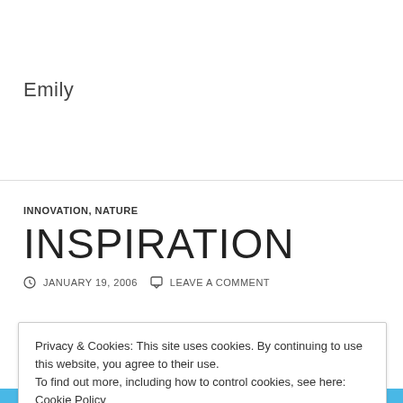Emily
INNOVATION, NATURE
INSPIRATION
JANUARY 19, 2006   LEAVE A COMMENT
Privacy & Cookies: This site uses cookies. By continuing to use this website, you agree to their use.
To find out more, including how to control cookies, see here: Cookie Policy
Close and accept